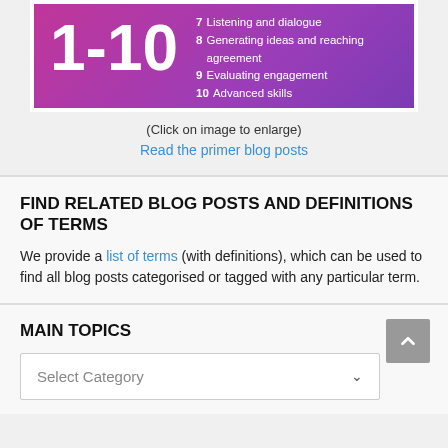[Figure (infographic): Pink/purple gradient box with large '1-10' text and list items: 7 Listening and dialogue, 8 Generating ideas and reaching agreement, 9 Evaluating engagement, 10 Advanced skills]
(Click on image to enlarge)
Read the primer blog posts
FIND RELATED BLOG POSTS AND DEFINITIONS OF TERMS
We provide a list of terms (with definitions), which can be used to find all blog posts categorised or tagged with any particular term.
MAIN TOPICS
Select Category